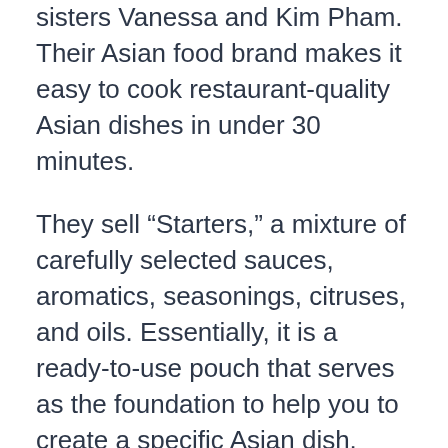sisters Vanessa and Kim Pham. Their Asian food brand makes it easy to cook restaurant-quality Asian dishes in under 30 minutes.
They sell “Starters,” a mixture of carefully selected sauces, aromatics, seasonings, citruses, and oils. Essentially, it is a ready-to-use pouch that serves as the foundation to help you to create a specific Asian dish.
You need to pour the mixture and fire it up with your favorite proteins and vegetables. We also included OMSOM in Veguncuts’ June Pride Snack Box so that you can try it along with other delicious goods.